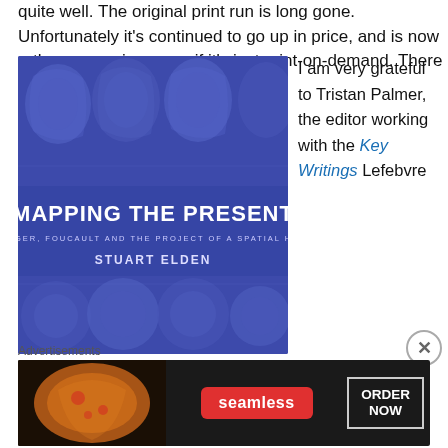quite well. The original print run is long gone. Unfortunately it's continued to go up in price, and is now rather expensive, even if it's just print-on-demand. There are pdfs circulating of course…
[Figure (photo): Book cover of 'Mapping the Present: Heidegger, Foucault and the Project of a Spatial History' by Stuart Elden, with a dark blue/purple background showing MRI brain scan images.]
I am very grateful to Tristan Palmer, the editor working with the Key Writings Lefebvre
Advertisements
[Figure (screenshot): Advertisement banner for Seamless food delivery service showing pizza image on left, Seamless red logo in center, and ORDER NOW button on right.]